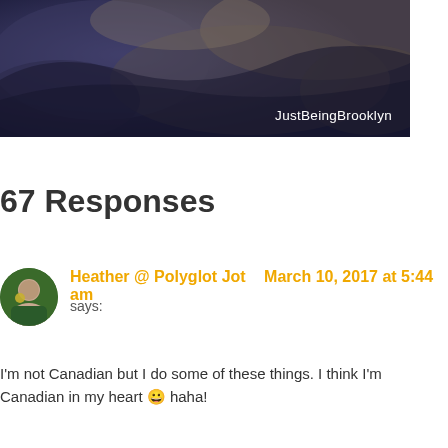[Figure (photo): Aerial or satellite-style photo of mountainous/terrain landscape with dark blue-purple tones, watermark text 'JustBeingBrooklyn' in lower right]
67 Responses
Heather @ Polyglot Jot says: March 10, 2017 at 5:44 am
I'm not Canadian but I do some of these things. I think I'm Canadian in my heart 😀 haha!